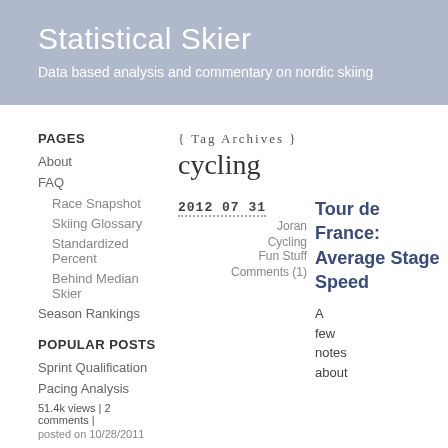Statistical Skier
Data based analysis and commentary on nordic skiing
PAGES
About
FAQ
Race Snapshot
Skiing Glossary
Standardized Percent
Behind Median Skier
Season Rankings
POPULAR POSTS
Sprint Qualification
Pacing Analysis
51.4k views | 2 comments |
posted on 10/28/2011
{ Tag Archives }
cycling
2012 07 31
Joran
Cycling
Fun Stuff
Comments (1)
Tour de France: Average Stage Speed
A few notes about